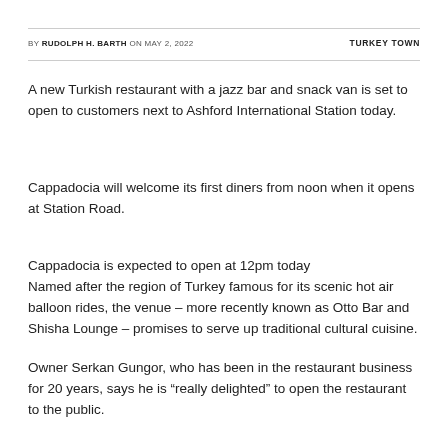BY RUDOLPH H. BARTH ON MAY 2, 2022    TURKEY TOWN
A new Turkish restaurant with a jazz bar and snack van is set to open to customers next to Ashford International Station today.
Cappadocia will welcome its first diners from noon when it opens at Station Road.
Cappadocia is expected to open at 12pm today
Named after the region of Turkey famous for its scenic hot air balloon rides, the venue – more recently known as Otto Bar and Shisha Lounge – promises to serve up traditional cultural cuisine.
Owner Serkan Gungor, who has been in the restaurant business for 20 years, says he is “really delighted” to open the restaurant to the public.